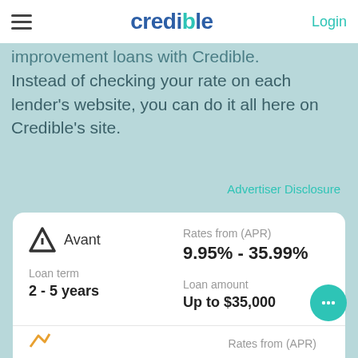credible | Login
improvement loans with Credible. Instead of checking your rate on each lender's website, you can do it all here on Credible's site.
Advertiser Disclosure
|  | Rates from (APR) |
| --- | --- |
| Avant | 9.95% - 35.99% |
| Loan term | Loan amount |
| 2 - 5 years | Up to $35,000 |
Show details
Check Rate
Rates from (APR)